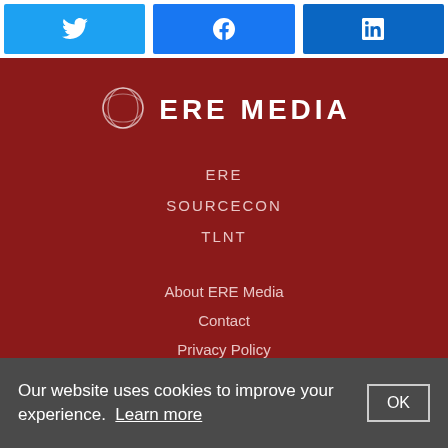[Figure (infographic): Social sharing buttons: Twitter (bird icon), Facebook (f icon), LinkedIn (in icon), all in blue]
[Figure (logo): ERE Media logo — circular sketch icon followed by ERE MEDIA text in white on dark red background]
ERE
SOURCECON
TLNT
About ERE Media
Contact
Privacy Policy
Our website uses cookies to improve your experience. Learn more